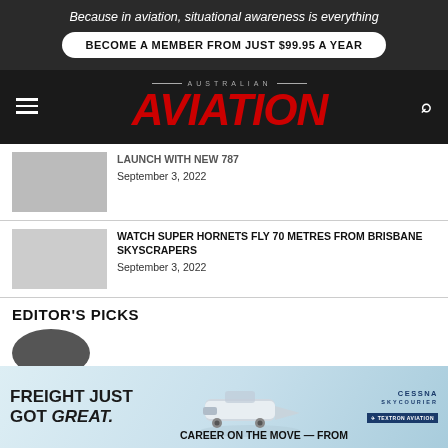Because in aviation, situational awareness is everything
BECOME A MEMBER FROM JUST $99.95 A YEAR
[Figure (logo): Australian Aviation magazine logo with red italic AVIATION text on dark background]
LAUNCH WITH NEW 787
September 3, 2022
WATCH SUPER HORNETS FLY 70 METRES FROM BRISBANE SKYSCRAPERS
September 3, 2022
EDITOR'S PICKS
[Figure (infographic): Cessna Skycourier advertisement banner: FREIGHT JUST GOT GREAT. with aircraft image and Cessna Skycourier logo]
CAREER ON THE MOVE — FROM